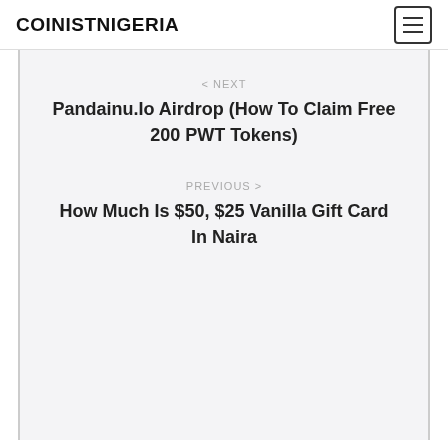COINISTNIGERIA
< NEXT
Pandainu.Io Airdrop (How To Claim Free 200 PWT Tokens)
PREVIOUS >
How Much Is $50, $25 Vanilla Gift Card In Naira